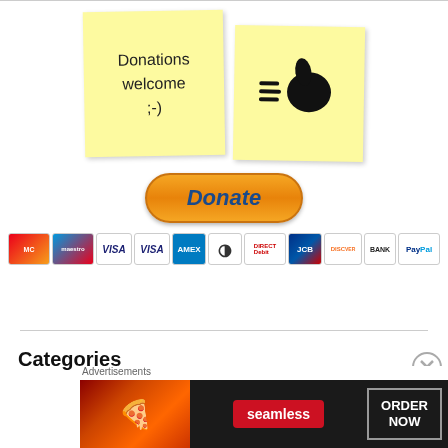[Figure (illustration): Two yellow sticky notes - left one has handwritten text 'Donations welcome ;-)' and right one has a thumbs up icon, above an orange Donate button and payment method logos (MasterCard, Maestro, VISA, VISA, Amex, Direct Debit, JCB, Discover, Bank, PayPal)]
Categories
[Figure (screenshot): Seamless food delivery advertisement banner with pizza image, 'seamless' red badge, and 'ORDER NOW' button]
Advertisements